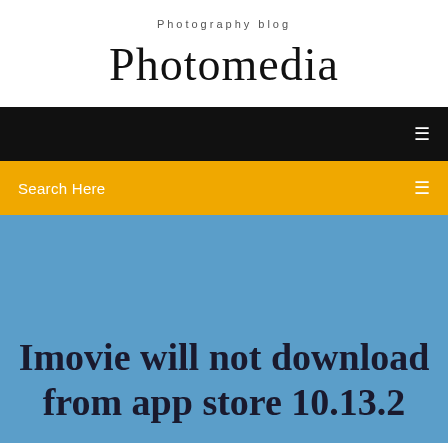Photography blog
Photomedia
[Figure (screenshot): Black navigation bar with a white menu icon on the right]
Search Here
Imovie will not download from app store 10.13.2